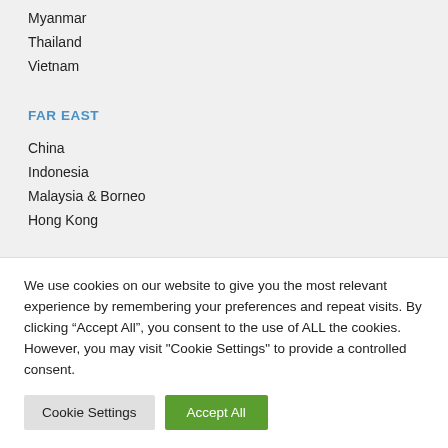Myanmar
Thailand
Vietnam
FAR EAST
China
Indonesia
Malaysia & Borneo
Hong Kong
JOIN OUR NEWSLETTER
We use cookies on our website to give you the most relevant experience by remembering your preferences and repeat visits. By clicking “Accept All”, you consent to the use of ALL the cookies. However, you may visit "Cookie Settings" to provide a controlled consent.